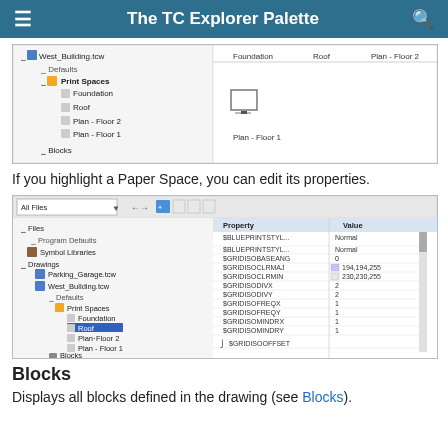The TC Explorer Palette
[Figure (screenshot): TC Explorer palette showing West_Building.tcw tree with Print Spaces (Foundation, Roof, Plan-Floor 2, Plan-Floor 1) and Blocks; right panel shows columns Foundation, Roof, Plan-Floor 2 with a monitor icon thumbnail and Plan-Floor 1 label]
If you highlight a Paper Space, you can edit its properties.
[Figure (screenshot): TC Explorer palette showing All Files dropdown, toolbar icons, left tree with Files, Program Defaults, Symbol Libraries, Drawings (Parking_Garage.tcw and West_Building.tcw with Defaults, Print Spaces: Foundation, Roof (selected/highlighted), Plan-Floor 2, Plan-Floor 1, Blocks); right panel shows Property/Value table with entries: $BLUEPRINTSTYL... Normal, $BLUEPRINTSTYL... Normal, $GRIDISOBASEANG 0, $GRIDISOCLRMAJ 194,194,255, $GRIDISOCLRMIN 230,230,255, $GRIDISODIVX 2, $GRIDISODIVY 2, $GRIDISOFREQX 1, $GRIDISOFREQY 1, $GRIDISOMINDRX 1, $GRIDISOMINDRY 1, $GRIDISOOFFSET]
Blocks
Displays all blocks defined in the drawing (see Blocks).